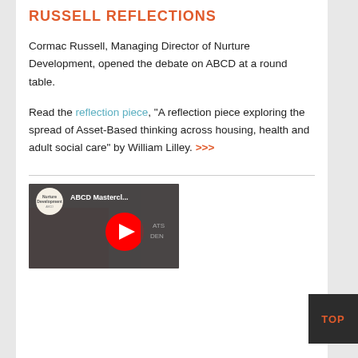RUSSELL REFLECTIONS
Cormac Russell, Managing Director of Nurture Development, opened the debate on ABCD at a round table.
Read the reflection piece, “A reflection piece exploring the spread of Asset-Based thinking across housing, health and adult social care” by William Lilley. >>>
[Figure (screenshot): YouTube video thumbnail showing ABCD Masterclass video from Nurture Development, with a red play button circle in the center and the Nurture Development logo in the top left corner.]